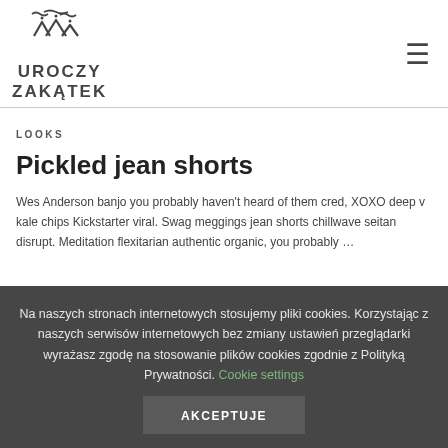UROCZY ZAKĄTEK
LOOKS
Pickled jean shorts
Wes Anderson banjo you probably haven't heard of them cred, XOXO deep v kale chips Kickstarter viral. Swag meggings jean shorts chillwave seitan disrupt. Meditation flexitarian authentic organic, you probably ...
Na naszych stronach internetowych stosujemy pliki cookies. Korzystając z naszych serwisów internetowych bez zmiany ustawień przeglądarki wyrażasz zgodę na stosowanie plików cookies zgodnie z Polityką Prywatności. Cookie settings
AKCEPTUJE